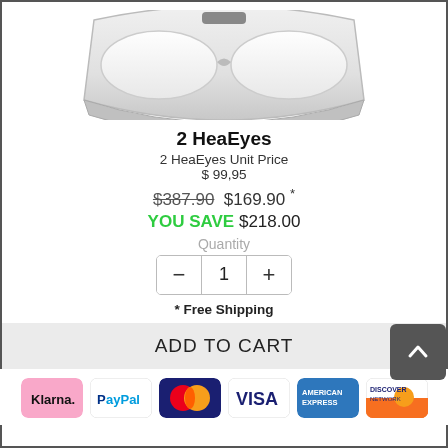[Figure (photo): White eye massager / smart goggles product photo, bottom half visible, white background]
2 HeaEyes
2 HeaEyes Unit Price
$ 99,95
$387.90  $169.90 *
YOU SAVE $218.00
Quantity
− 1 +
* Free Shipping
ADD TO CART
[Figure (logo): Payment icons row: Klarna, PayPal, Mastercard, Visa, American Express, Discover Network]